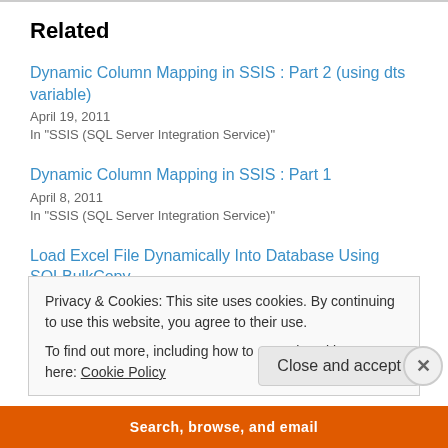Related
Dynamic Column Mapping in SSIS : Part 2 (using dts variable)
April 19, 2011
In "SSIS (SQL Server Integration Service)"
Dynamic Column Mapping in SSIS : Part 1
April 8, 2011
In "SSIS (SQL Server Integration Service)"
Load Excel File Dynamically Into Database Using SQLBulkCopy and GetOleDbSchemaTable in C#
February 24, 2012
In "MS Visual Studio, C#.NET"
Privacy & Cookies: This site uses cookies. By continuing to use this website, you agree to their use.
To find out more, including how to control cookies, see here: Cookie Policy
Close and accept
Search, browse, and email